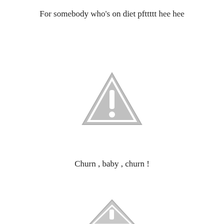For somebody who's on diet pfttttt hee hee
[Figure (illustration): Warning triangle icon with exclamation mark, gray colored]
Churn , baby , churn !
[Figure (illustration): Warning triangle icon with exclamation mark, gray colored, partially visible at bottom]